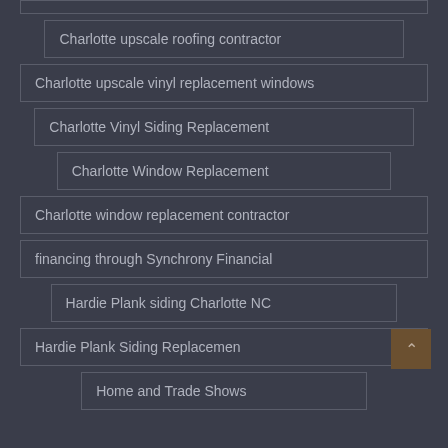Charlotte upscale roofing contractor
Charlotte upscale vinyl replacement windows
Charlotte Vinyl Siding Replacement
Charlotte Window Replacement
Charlotte window replacement contractor
financing through Synchrony Financial
Hardie Plank siding Charlotte NC
Hardie Plank Siding Replacement
Home and Trade Shows